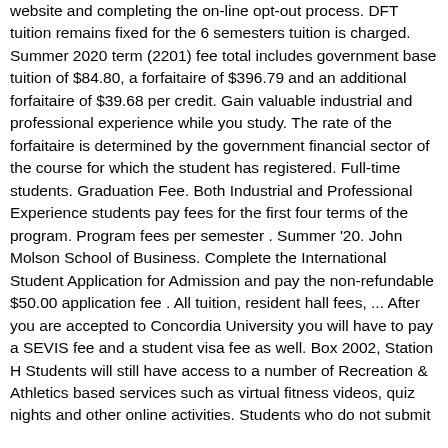website and completing the on-line opt-out process. DFT tuition remains fixed for the 6 semesters tuition is charged. Summer 2020 term (2201) fee total includes government base tuition of $84.80, a forfaitaire of $396.79 and an additional forfaitaire of $39.68 per credit. Gain valuable industrial and professional experience while you study. The rate of the forfaitaire is determined by the government financial sector of the course for which the student has registered. Full-time students. Graduation Fee. Both Industrial and Professional Experience students pay fees for the first four terms of the program. Program fees per semester . Summer '20. John Molson School of Business. Complete the International Student Application for Admission and pay the non-refundable $50.00 application fee . All tuition, resident hall fees, ... After you are accepted to Concordia University you will have to pay a SEVIS fee and a student visa fee as well. Box 2002, Station H Students will still have access to a number of Recreation & Athletics based services such as virtual fitness videos, quiz nights and other online activities. Students who do not submit